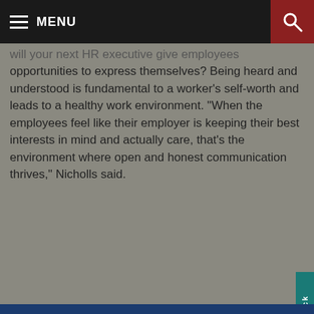MENU
will your next HR executive give employees opportunities to express themselves? Being heard and understood is fundamental to a worker's self-worth and leads to a healthy work environment. "When the employees feel like their employer is keeping their best interests in mind and actually care, that's the environment where open and honest communication thrives," Nicholls said.
We use cookies to make our site work, to improve your experience, and we use our own, and third-party cookies, for advertising. Please see our Cookie Policy for more information and how to disable them. By clicking accept, or closing the message and continuing to use this site, you agree to our use of cookies.
ACCEPT